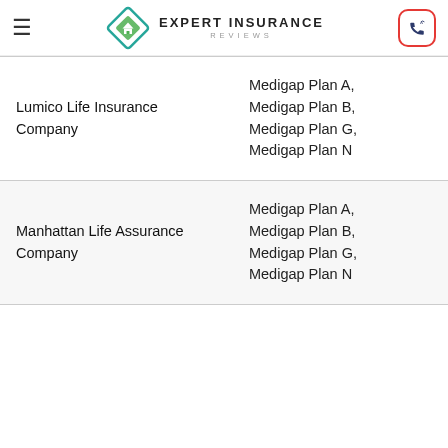Expert Insurance Reviews
| Company | Plans |
| --- | --- |
| Lumico Life Insurance Company | Medigap Plan A, Medigap Plan B, Medigap Plan G, Medigap Plan N |
| Manhattan Life Assurance Company | Medigap Plan A, Medigap Plan B, Medigap Plan G, Medigap Plan N |